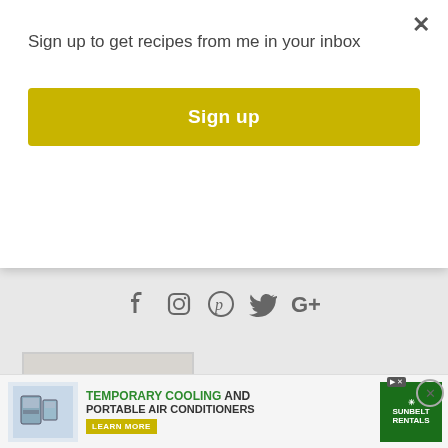Sign up to get recipes from me in your inbox
Sign up
[Figure (other): Social media icons: Facebook, Instagram, Pinterest, Twitter, Google+]
[Figure (photo): Woman with curly auburn hair wearing yellow top, smiling, professional headshot]
AN ELITE CAFEMEDIA FOOD PUBLISHER
[Figure (other): Advertisement banner: Temporary Cooling and Portable Air Conditioners - Learn More - Sunbelt Rentals]